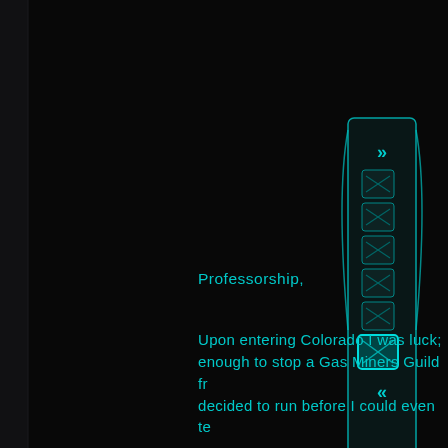[Figure (screenshot): Dark sci-fi UI panel on black background. Top-right area shows a vertical scrollbar/navigation widget with cyan borders, double chevron arrows (>>) at top, multiple small square icons in a column, one highlighted square in cyan, and double chevron arrows (<<) at bottom.]
Professorship,
Upon entering Colorado I was luck; enough to stop a Gas Miners Guild fr decided to run before I could even te